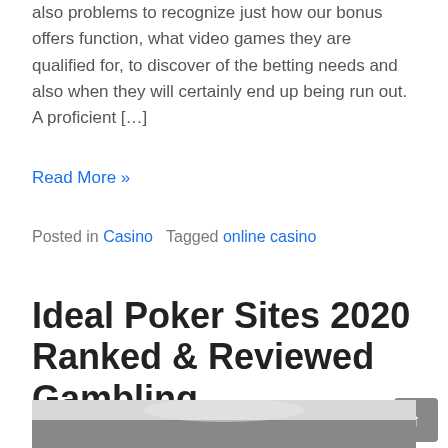also problems to recognize just how our bonus offers function, what video games they are qualified for, to discover of the betting needs and also when they will certainly end up being run out. A proficient […]
Read More »
Posted in Casino   Tagged online casino
Ideal Poker Sites 2020 Ranked & Reviewed Gambling
Posted on August 3, 2020 by admin